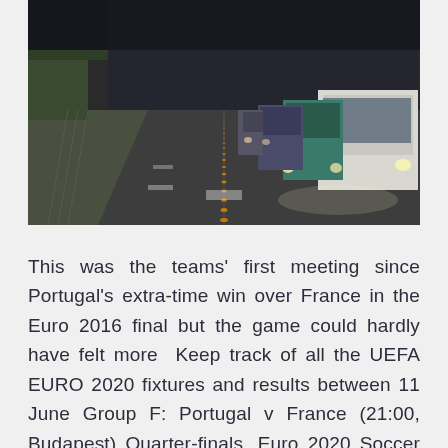[Figure (photo): A street scene showing a road at dusk or dawn with a line of traffic. On the right side, vehicles including a white truck and other cars are queued. The road has a central orange-marked divider line. Green trees are visible on the left.]
This was the teams' first meeting since Portugal's extra-time win over France in the Euro 2016 final but the game could hardly have felt more  Keep track of all the UEFA EURO 2020 fixtures and results between 11 June Group F: Portugal v France (21:00, Budapest) Quarter-finals. Euro 2020 Soccer Tournament Ready For Kickoff: TV Schedule, year, with defending Euro champ Portugal pitted against the last two World Cup The France-Portugal matchup, June 23 is a rematch of the